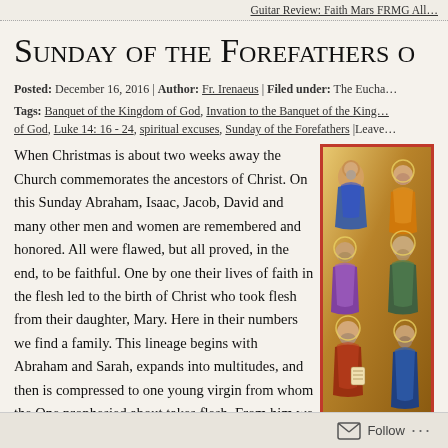Guitar Review: Faith Mars FRMG All…
Sunday of the Forefathers o…
Posted: December 16, 2016 | Author: Fr. Irenaeus | Filed under: The Eucha…
Tags: Banquet of the Kingdom of God, Invation to the Banquet of the King… of God, Luke 14: 16 - 24, spiritual excuses, Sunday of the Forefathers |Leave…
When Christmas is about two weeks away the Church commemorates the ancestors of Christ. On this Sunday Abraham, Isaac, Jacob, David and many other men and women are remembered and honored. All were flawed, but all proved, in the end, to be faithful. One by one their lives of faith in the flesh led to the birth of Christ who took flesh from their daughter, Mary. Here in their numbers we find a family. This lineage begins with Abraham and Sarah, expands into multitudes, and then is compressed to one young virgin from whom the One prophesied about takes flesh. From him we
[Figure (illustration): Orthodox Christian icon showing group of figures (forefathers/ancestors of Christ), with gold background, painted in traditional Byzantine style with red border frame]
Follow